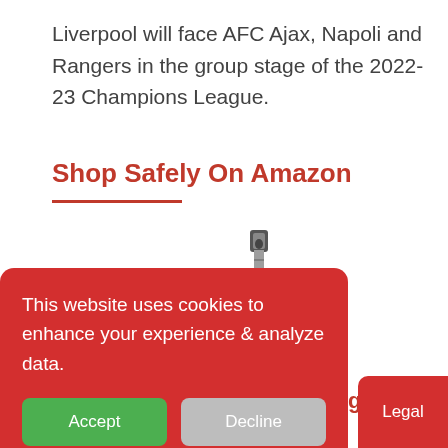Liverpool will face AFC Ajax, Napoli and Rangers in the group stage of the 2022-23 Champions League.
Shop Safely On Amazon
[Figure (photo): A metal ruler/tape measure standing vertically, showing measurement markings, with a label at the top.]
This website uses cookies to enhance your experience & analyze data.
g Ruler, Oxford
Legal